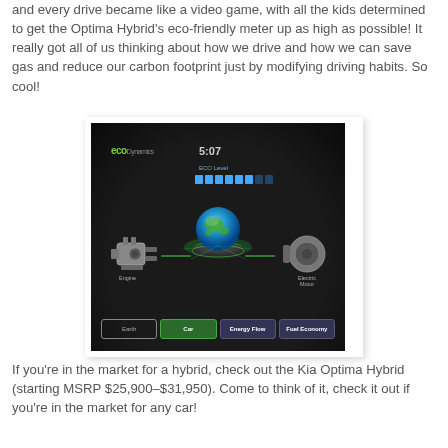and every drive became like a video game, with all the kids determined to get the Optima Hybrid's eco-friendly meter up as high as possible!  It really got all of us thinking about how we drive and how we can save gas and reduce our carbon footprint just by modifying driving habits.  So cool!
[Figure (screenshot): Screenshot of the Kia Optima Hybrid's ECO Dynamics display screen showing the ECO level meter, a glowing Earth globe in the center, Engine icon on the left, Electric Motor icon on the right, and navigation buttons at the bottom (Earth, Car, Energy Flow, Fuel Economy). Time shown is 5:07.]
If you're in the market for a hybrid, check out the Kia Optima Hybrid (starting MSRP $25,900–$31,950).   Come to think of it, check it out if you're in the market for any car!